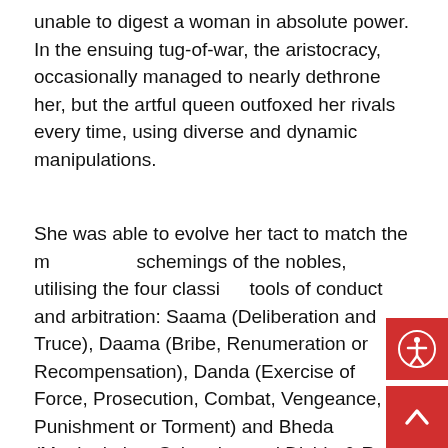unable to digest a woman in absolute power. In the ensuing tug-of-war, the aristocracy, occasionally managed to nearly dethrone her, but the artful queen outfoxed her rivals every time, using diverse and dynamic manipulations.
She was able to evolve her tact to match the multifarious schemings of the nobles, utilising the four classical tools of conduct and arbitration: Saama (Deliberation and Truce), Daama (Bribe, Renumeration or Recompensation), Danda (Exercise of Force, Prosecution, Combat, Vengeance, Punishment or Torment) and Bheda (Manipulation, Scheming and Divide & Rule tactics), prescribed in Hindu scriptures. Keeping apace and abreast of each of their moves and pitting one against the other, she managed to eke out a period of relative quiet, amidst the prevalent unrest. Gradually, over